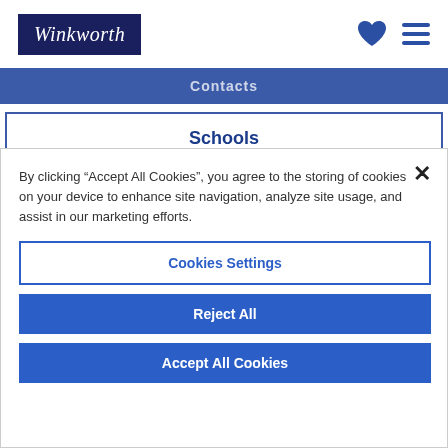[Figure (logo): Winkworth logo in dark navy blue box with white italic serif text]
Contacts
Schools
By clicking “Accept All Cookies”, you agree to the storing of cookies on your device to enhance site navigation, analyze site usage, and assist in our marketing efforts.
Cookies Settings
Reject All
Accept All Cookies